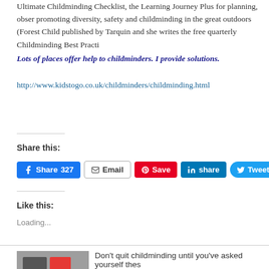Ultimate Childminding Checklist, the Learning Journey Plus for planning, observing, promoting diversity, safety and childminding in the great outdoors (Forest Child... published by Tarquin and she writes the free quarterly Childminding Best Practi...
Lots of places offer help to childminders. I provide solutions.
http://www.kidstogo.co.uk/childminders/childminding.html
Share this:
[Figure (screenshot): Social sharing buttons: Facebook Share 327, Email, Pinterest Save, LinkedIn share, Twitter Tweet]
Like this:
Loading...
Don't quit childminding until you've asked yourself thes...
APRIL 14, 2016 9:55 AM / 27 COMMENTS